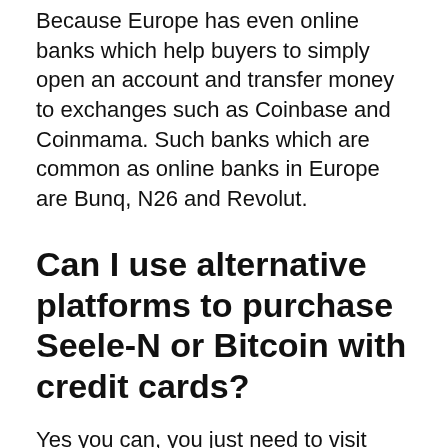Because Europe has even online banks which help buyers to simply open an account and transfer money to exchanges such as Coinbase and Coinmama. Such banks which are common as online banks in Europe are Bunq, N26 and Revolut.
Can I use alternative platforms to purchase Seele-N or Bitcoin with credit cards?
Yes you can, you just need to visit Changelly which an easy to trade in site especially when it comes to buying Bitcoin with credit cards. It provides an automatic cryptocurrency exchange that gives a buyer the opportunity to exchange crypto fast and